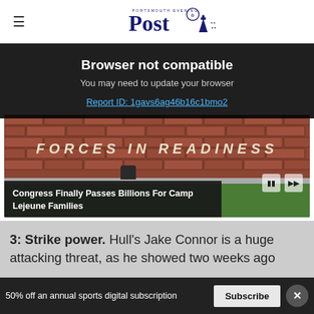≡  Portsmouth Evening Post
Browser not compatible
You may need to update your browser
Report ID: 1gavs6ag46b16c1bmo2
[Figure (photo): Video player showing a brick wall with text 'FORCES IN READINESS' and a grassy area below. Video controls (pause and skip) visible. Caption bar reads 'Congress Finally Passes Billions For Camp Lejeune Families'.]
Congress Finally Passes Billions For Camp Lejeune Families
3: Strike power. Hull's Jake Connor is a huge attacking threat, as he showed two weeks ago
50% off an annual sports digital subscription   Subscribe  ×